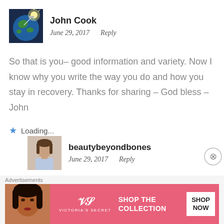[Figure (photo): Avatar of John Cook showing Earth from space with a bright light/satellite]
John Cook
June 29, 2017   Reply
So that is you– good information and variety. Now I know why you write the way you do and how you stay in recovery. Thanks for sharing – God bless – John
Loading...
[Figure (photo): Avatar of beautybeyondbones showing a young woman with long brown hair]
beautybeyondbones
June 29, 2017   Reply
thanks so much John! yep, that's me!! 😉 hehe
Advertisements
[Figure (photo): Victoria's Secret advertisement banner with model, VS logo, SHOP THE COLLECTION text and SHOP NOW button]